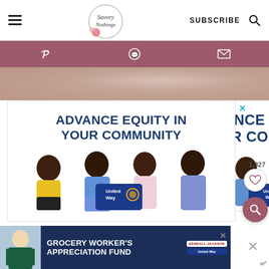Savory Nothings — SUBSCRIBE
[Figure (screenshot): Website header with hamburger menu, Savory Nothings logo, SUBSCRIBE text, and search icon]
[Figure (screenshot): Mauve social sharing bar with Pinterest, WhatsApp, and email icons]
[Figure (photo): Partial food/cooking hero image strip in pinkish-beige tones]
[Figure (screenshot): Advertisement: ADVANCE EQUITY IN YOUR COMMUNITY — United Way ad with four smiling people sitting together]
[Figure (screenshot): Bottom banner ad: GROCERY WORKER'S APPRECIATION FUND with Kendall-Jackson and United Way logos and a grocery worker photo]
1,327